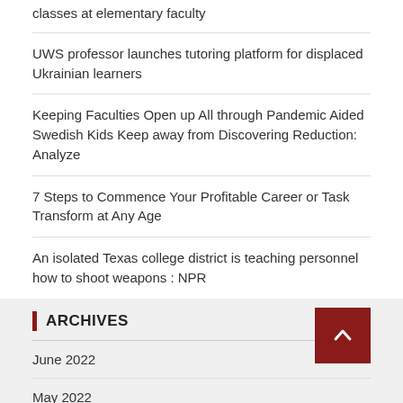classes at elementary faculty
UWS professor launches tutoring platform for displaced Ukrainian learners
Keeping Faculties Open up All through Pandemic Aided Swedish Kids Keep away from Discovering Reduction: Analyze
7 Steps to Commence Your Profitable Career or Task Transform at Any Age
An isolated Texas college district is teaching personnel how to shoot weapons : NPR
ARCHIVES
June 2022
May 2022